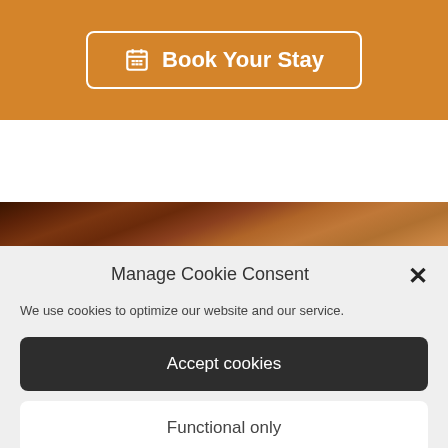[Figure (screenshot): Orange header bar with a 'Book Your Stay' button featuring a calendar icon, white border and white text on orange background]
[Figure (photo): Partial photo of wooden ceiling or bar interior with warm brown tones and warm lighting]
Manage Cookie Consent
We use cookies to optimize our website and our service.
Accept cookies
Functional only
View preferences